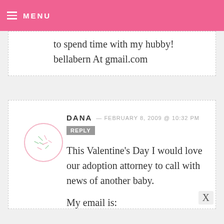MENU
to spend time with my hubby!
bellabern At gmail.com
DANA — FEBRUARY 8, 2009 @ 10:32 PM REPLY
This Valentine’s Day I would love our adoption attorney to call with news of another baby.

My email is:
drccrc@sbcglobal.net